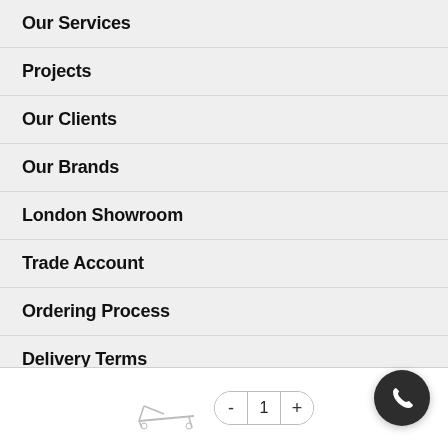Our Services
Projects
Our Clients
Our Brands
London Showroom
Trade Account
Ordering Process
Delivery Terms
Norse Lighting
[Figure (screenshot): Bottom navigation bar with product thumbnail (lounge chair), quantity selector showing 1 with minus and plus buttons, and a dark circular phone call button in the bottom right corner.]